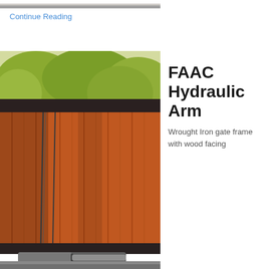[Figure (photo): Partial top edge of a wooden/metal gate or fence, cropped image at top of page]
Continue Reading
[Figure (photo): Wrought iron gate frame with wood facing (cedar/redwood vertical slats), showing a dark metal top rail and a FAAC hydraulic arm unit at the bottom. Trees visible above the gate.]
FAAC Hydraulic Arm
Wrought Iron gate frame with wood facing